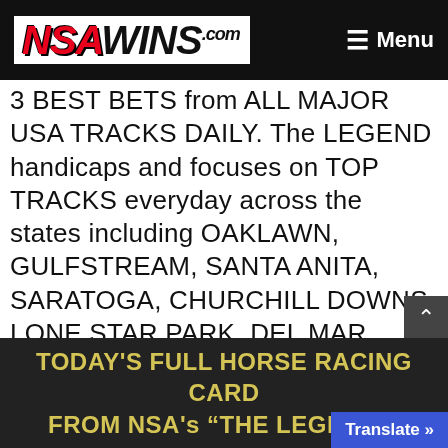NSAWINS.com — Menu
3 BEST BETS from ALL MAJOR USA TRACKS DAILY. The LEGEND handicaps and focuses on TOP TRACKS everyday across the states including OAKLAWN, GULFSTREAM, SANTA ANITA, SARATOGA, CHURCHILL DOWNS, LONE STAR PARK, DEL MAR, KENTUCKY DOWNS, LOS ALAMITOS, BELMONT, AQUEDUCT, TAMPA BAY DOWNS, KEENELAND and MORE! – THE BEST HORSE RACING PICKS IN THE NATION!
TODAY'S FULL HORSE RACING CARD FROM NSA's "THE LEGEND"!